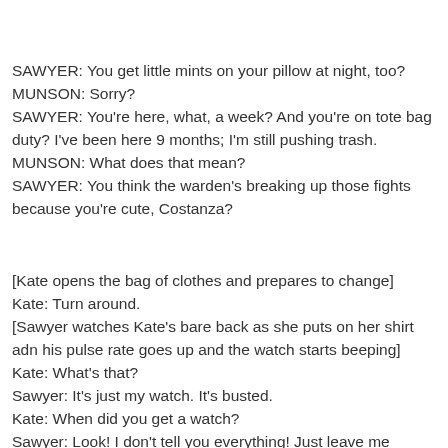SAWYER: You get little mints on your pillow at night, too?
MUNSON: Sorry?
SAWYER: You're here, what, a week? And you're on tote bag duty? I've been here 9 months; I'm still pushing trash.
MUNSON: What does that mean?
SAWYER: You think the warden's breaking up those fights because you're cute, Costanza?
[Kate opens the bag of clothes and prepares to change]
Kate: Turn around.
[Sawyer watches Kate's bare back as she puts on her shirt adn his pulse rate goes up and the watch starts beeping]
Kate: What's that?
Sawyer: It's just my watch. It's busted.
Kate: When did you get a watch?
Sawyer: Look! I don't tell you everything! Just leave me